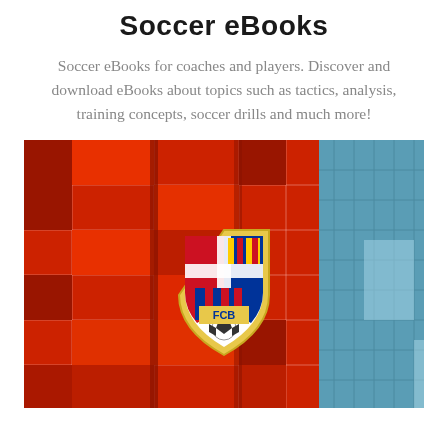Soccer eBooks
Soccer eBooks for coaches and players. Discover and download eBooks about topics such as tactics, analysis, training concepts, soccer drills and much more!
[Figure (photo): FC Barcelona stadium exterior wall with red paneling and illuminated FCB crest/shield logo on the facade, with glass building structure visible on the right side]